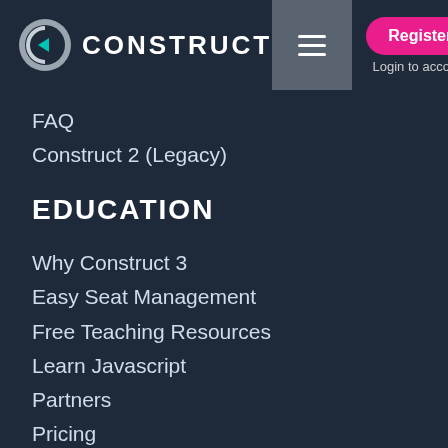[Figure (logo): Construct logo with stylized C icon and CONSTRUCT text in white]
FAQ
Construct 2 (Legacy)
EDUCATION
Why Construct 3
Easy Seat Management
Free Teaching Resources
Learn Javascript
Partners
Pricing
FAQ
OUR COMPANY